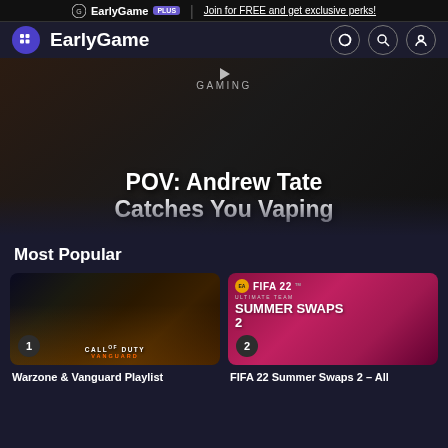EarlyGame PLUS | Join for FREE and get exclusive perks!
[Figure (screenshot): EarlyGame website navigation bar with grid icon, EarlyGame logo, and icons for theme toggle, search, and user profile]
[Figure (photo): Hero banner showing a dark gaming scene with text overlay: GAMING category label and article title 'POV: Andrew Tate Catches You Vaping']
POV: Andrew Tate Catches You Vaping
Most Popular
[Figure (photo): Card 1: Call of Duty Vanguard promotional image showing soldiers in a war scene with aircraft. Numbered badge '1'. Title: Warzone & Vanguard Playlist]
Warzone & Vanguard Playlist
[Figure (photo): Card 2: FIFA 22 Ultimate Team Summer Swaps 2 promotional banner with pink/red gradient background. Numbered badge '2'. Title: FIFA 22 Summer Swaps 2 – All]
FIFA 22 Summer Swaps 2 – All